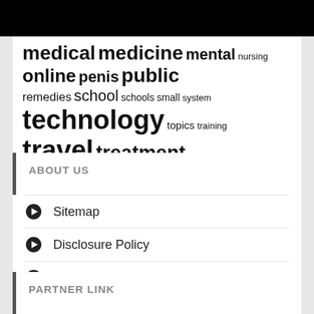medical medicine mental nursing online penis public remedies school schools small system technology topics training travel treatment vitamins women womens
ABOUT US
Sitemap
Disclosure Policy
Advertise Here
Contact Us
PARTNER LINK